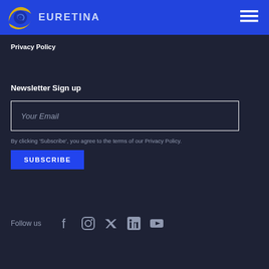[Figure (logo): EURETINA logo with circular eye icon and text 'EURETINA' in the blue navigation header]
Privacy Policy
Newsletter Sign up
Your Email
By clicking 'Subscribe', you agree to the terms of our Privacy Policy.
SUBSCRIBE
Follow us